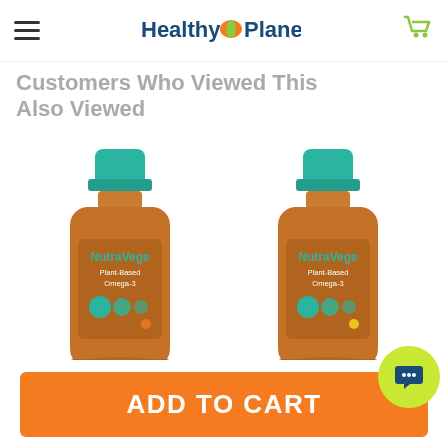Healthy Planet
Customers Who Viewed This Also Viewed
[Figure (photo): Two amber glass bottles of NutraVege Plant-Based Omega-3 supplement with teal caps, shown side by side]
ADD TO CART